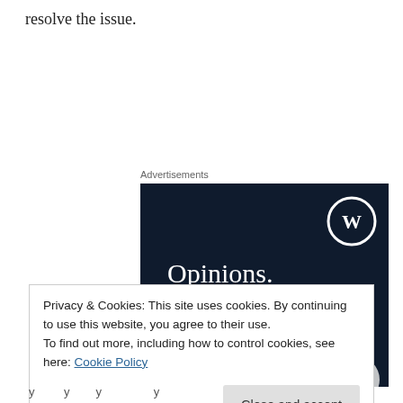resolve the issue.
Advertisements
[Figure (illustration): WordPress advertisement banner with dark navy background. Shows WordPress logo (W in circle) top right, text 'Opinions. We all have them!' in white, with a pink button and circular element at bottom.]
Privacy & Cookies: This site uses cookies. By continuing to use this website, you agree to their use.
To find out more, including how to control cookies, see here: Cookie Policy
Close and accept